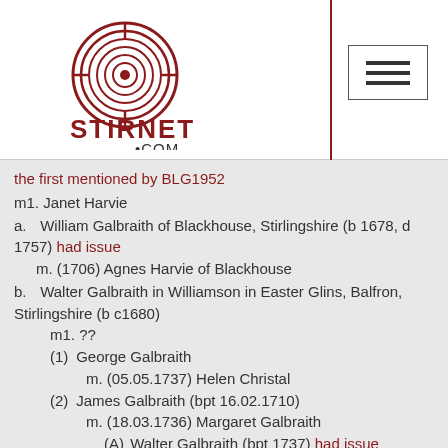Stirnet.com logo and navigation
the first mentioned by BLG1952
m1. Janet Harvie
a. William Galbraith of Blackhouse, Stirlingshire (b 1678, d 1757) had issue
m. (1706) Agnes Harvie of Blackhouse
b. Walter Galbraith in Williamson in Easter Glins, Balfron, Stirlingshire (b c1680)
m1. ??
(1) George Galbraith
m. (05.05.1737) Helen Christal
(2) James Galbraith (bpt 16.02.1710)
m. (18.03.1736) Margaret Galbraith
(A) Walter Galbraith (bpt 1737) had issue
m. (16.12.1766) Jane Garland
(B) John Galbraith of Wyndford (Glasgow) & Milngavie, Dunbartonshire (bpt 07.05.1749, miller)
m. Agnes Brodie (d 1825)
(i) son
(ii) William Galbraith of Dunbarton (b